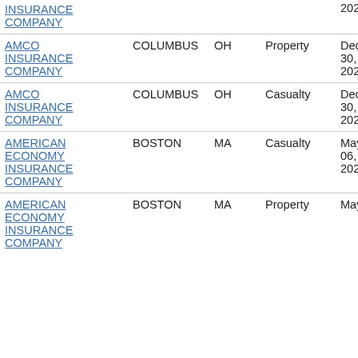| Company | City | State | Type | Date |
| --- | --- | --- | --- | --- |
| INSURANCE COMPANY |  |  |  | 2021 |
| AMCO INSURANCE COMPANY | COLUMBUS | OH | Property | Dec 30, 2021 |
| AMCO INSURANCE COMPANY | COLUMBUS | OH | Casualty | Dec 30, 2021 |
| AMERICAN ECONOMY INSURANCE COMPANY | BOSTON | MA | Casualty | May 06, 2022 |
| AMERICAN ECONOMY INSURANCE COMPANY | BOSTON | MA | Property | May |